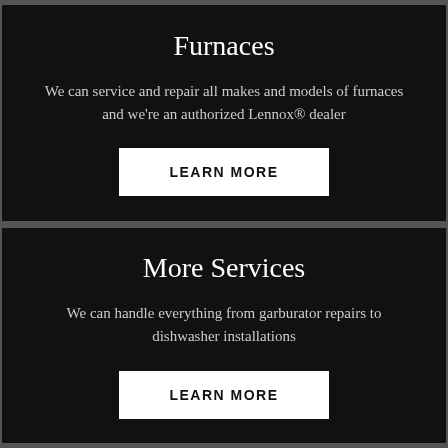Furnaces
We can service and repair all makes and models of furnaces and we're an authorized Lennox® dealer
LEARN MORE
More Services
We can handle everything from garburator repairs to dishwasher installations
LEARN MORE